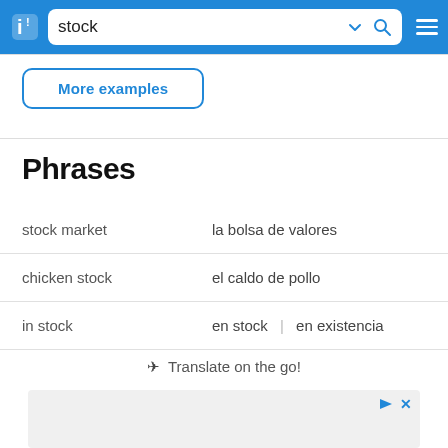stock
More examples
Phrases
stock market — la bolsa de valores
chicken stock — el caldo de pollo
in stock — en stock | en existencia
→ Translate on the go!